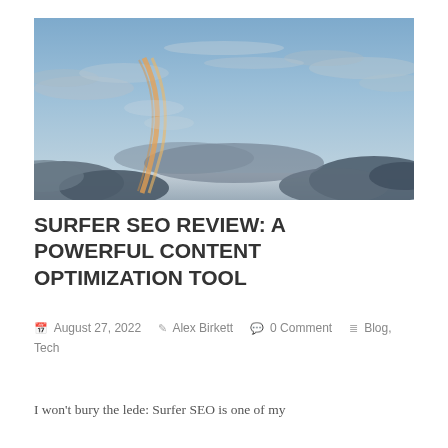[Figure (photo): A wide-angle photograph of a dramatic sky with blue tones, scattered clouds, and a faint streak of orange/golden light curving through the center.]
SURFER SEO REVIEW: A POWERFUL CONTENT OPTIMIZATION TOOL
August 27, 2022   Alex Birkett   0 Comment   Blog, Tech
I won't bury the lede: Surfer SEO is one of my